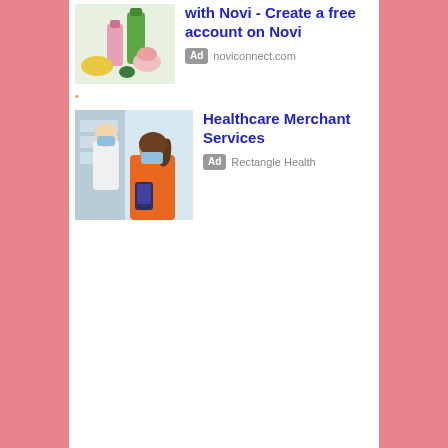[Figure (photo): Spa and beauty products — green bottle, pink lotion, sponge, towel on white background]
with Novi - Create a free account on Novi
Ad  noviconnect.com
[Figure (photo): Healthcare scene — doctor in white coat and mask talking with patient in orange top wearing mask, holding device]
Healthcare Merchant Services
Ad  Rectangle Health